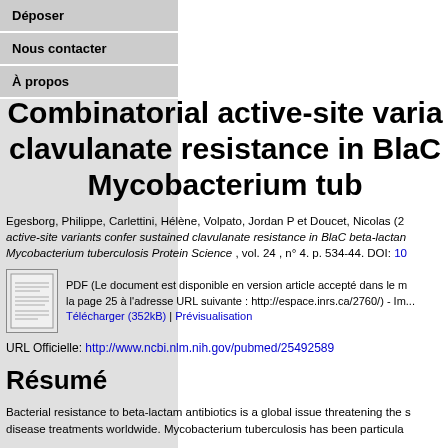Déposer
Nous contacter
À propos
Combinatorial active-site variants confer sustained clavulanate resistance in BlaC beta-lactamase from Mycobacterium tuberculosis
Egesborg, Philippe, Carlettini, Hélène, Volpato, Jordan P et Doucet, Nicolas (2015). Combinatorial active-site variants confer sustained clavulanate resistance in BlaC beta-lactamase from Mycobacterium tuberculosis Protein Science , vol. 24 , n° 4. p. 534-44. DOI: 10...
PDF (Le document est disponible en version article accepté dans le m... la page 25 à l'adresse URL suivante : http://espace.inrs.ca/2760/) - Im... Télécharger (352kB) | Prévisualisation
URL Officielle: http://www.ncbi.nlm.nih.gov/pubmed/25492589
Résumé
Bacterial resistance to beta-lactam antibiotics is a global issue threatening the s... disease treatments worldwide. Mycobacterium tuberculosis has been particula...